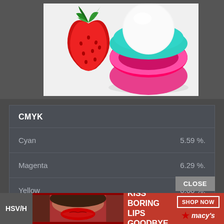[Figure (photo): Product photo showing an EOS strawberry lip balm sphere (pink base, teal rim, white ball top) next to a red strawberry, on a white background.]
| CMYK |  |
| --- | --- |
| Cyan | 5.59 %. |
| Magenta | 6.29 %. |
| Yellow | 0.00 %. |
| Key | 43.92 %. |
CLOSE
HSV/H
[Figure (advertisement): Macy's advertisement banner: woman with red lips, text 'KISS BORING LIPS GOODBYE', 'SHOP NOW' button, and Macy's star logo.]